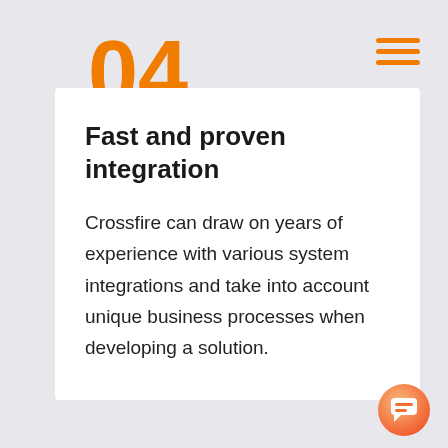04.
[Figure (infographic): Hamburger menu icon with three orange horizontal lines]
Fast and proven integration
Crossfire can draw on years of experience with various system integrations and take into account unique business processes when developing a solution.
[Figure (illustration): Orange gradient chat bubble icon in the bottom right corner]